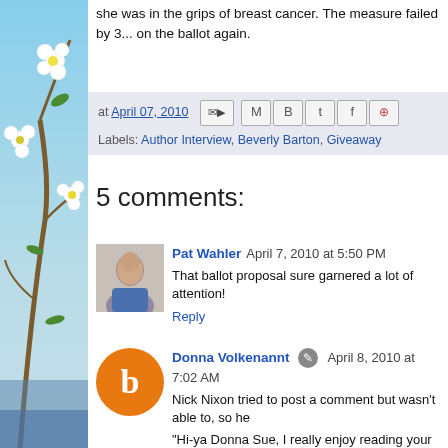she was in the grips of breast cancer. The measure failed by 3... on the ballot again.
at April 07, 2010  [share icons]  Labels: Author Interview, Beverly Barton, Giveaway
5 comments:
Pat Wahler  April 7, 2010 at 5:50 PM
That ballot proposal sure garnered a lot of attention!
Reply
Donna Volkenannt  April 8, 2010 at 7:02 AM
Nick Nixon tried to post a comment but wasn't able to, so he
"Hi-ya Donna Sue, I really enjoy reading your blog. Just one... find the time to do all that??